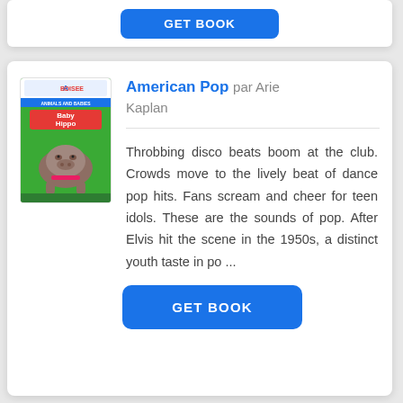[Figure (illustration): Book cover for 'Baby Hippo' from Abdo/Abodisee publisher, showing a baby hippo on green background]
American Pop par Arie Kaplan
Throbbing disco beats boom at the club. Crowds move to the lively beat of dance pop hits. Fans scream and cheer for teen idols. These are the sounds of pop. After Elvis hit the scene in the 1950s, a distinct youth taste in po ...